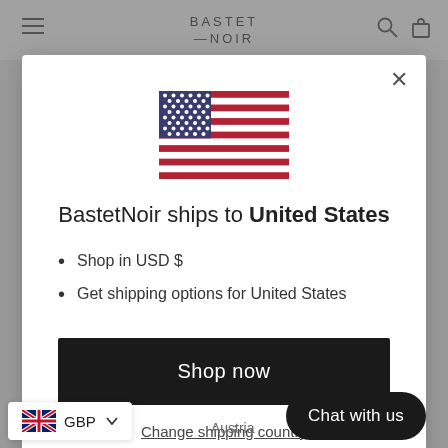BASTET NOIR
[Figure (illustration): US flag SVG illustration]
BastetNoir ships to United States
Shop in USD $
Get shipping options for United States
Shop now
Change shipping country
GBP
Chat with us
Austria